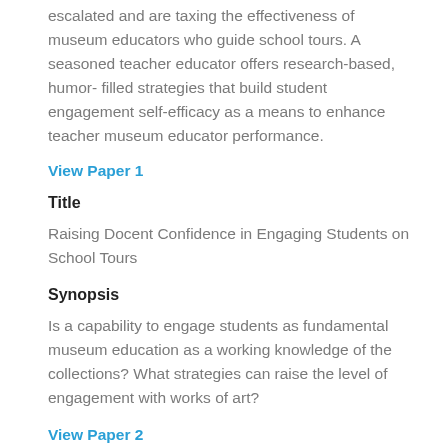escalated and are taxing the effectiveness of museum educators who guide school tours. A seasoned teacher educator offers research-based, humor- filled strategies that build student engagement self-efficacy as a means to enhance teacher museum educator performance.
View Paper 1
Title
Raising Docent Confidence in Engaging Students on School Tours
Synopsis
Is a capability to engage students as fundamental museum education as a working knowledge of the collections? What strategies can raise the level of engagement with works of art?
View Paper 2